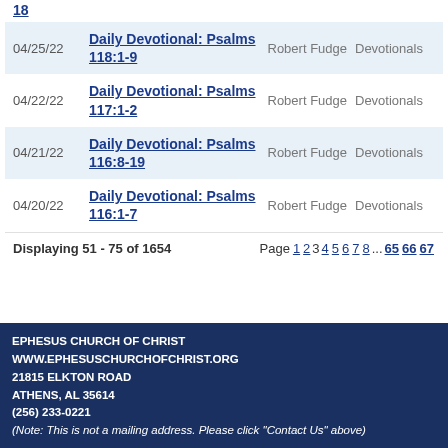18
| Date | Title | Author | Category |
| --- | --- | --- | --- |
| 04/25/22 | Daily Devotional: Psalms 118:1-9 | Robert Fudge | Devotionals |
| 04/22/22 | Daily Devotional: Psalms 117:1-2 | Robert Fudge | Devotionals |
| 04/21/22 | Daily Devotional: Psalms 116:8-19 | Robert Fudge | Devotionals |
| 04/20/22 | Daily Devotional: Psalms 116:1-7 | Robert Fudge | Devotionals |
Displaying 51 - 75 of 1654   Page 1 2 3 4 5 6 7 8 ... 65 66 67
EPHESUS CHURCH OF CHRIST
WWW.EPHESUSCHURCHOFCHRIST.ORG
21815 ELKTON ROAD
ATHENS, AL 35614
(256) 233-0221
(Note: This is not a mailing address. Please click "Contact Us" above)